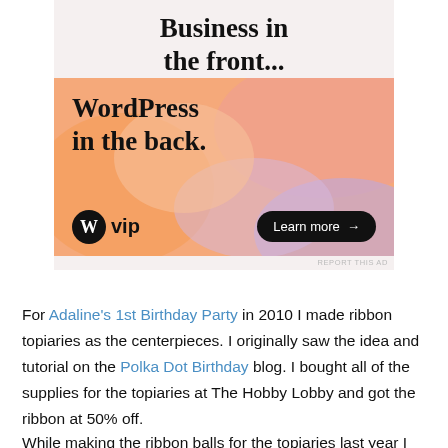[Figure (infographic): WordPress VIP advertisement banner. Top section on light pink/beige background reads 'Business in the front...' in bold serif font. Lower colored section with orange/pink/purple gradient blobs contains 'WordPress in the back.' in bold serif, WordPress W logo with 'vip' text, and a 'Learn more →' dark pill button. Small 'REPORT THIS AD' text at bottom right.]
For Adaline's 1st Birthday Party in 2010 I made ribbon topiaries as the centerpieces. I originally saw the idea and tutorial on the Polka Dot Birthday blog. I bought all of the supplies for the topiaries at The Hobby Lobby and got the ribbon at 50% off.
While making the ribbon balls for the topiaries last year I